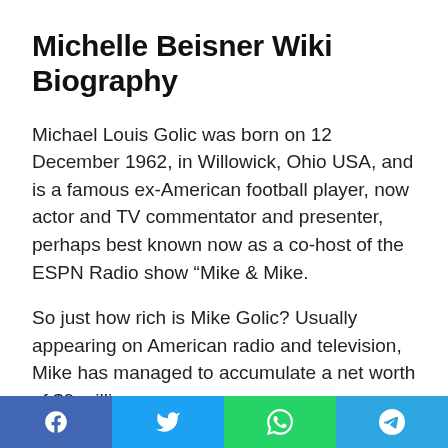Michelle Beisner Wiki Biography
Michael Louis Golic was born on 12 December 1962, in Willowick, Ohio USA, and is a famous ex-American football player, now actor and TV commentator and presenter, perhaps best known now as a co-host of the ESPN Radio show “Mike & Mike.
So just how rich is Mike Golic? Usually appearing on American radio and television, Mike has managed to accumulate a net worth of $9 million through...